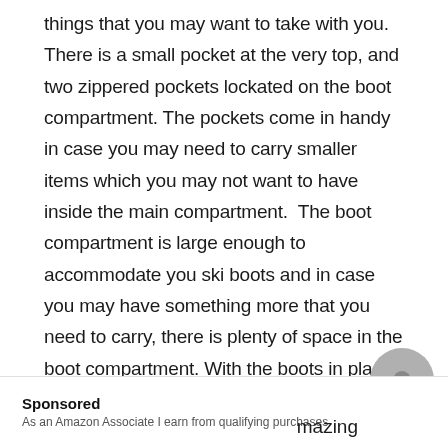things that you may want to take with you. There is a small pocket at the very top, and two zippered pockets lockated on the boot compartment. The pockets come in handy in case you may need to carry smaller items which you may not want to have inside the main compartment.  The boot compartment is large enough to accommodate you ski boots and in case you may have something more that you need to carry, there is plenty of space in the boot compartment. With the boots in place, you can now focus on the main storage compartment that is in a position to hold your helmet, your jacket and
Sponsored
As an Amazon Associate I earn from qualifying purchases